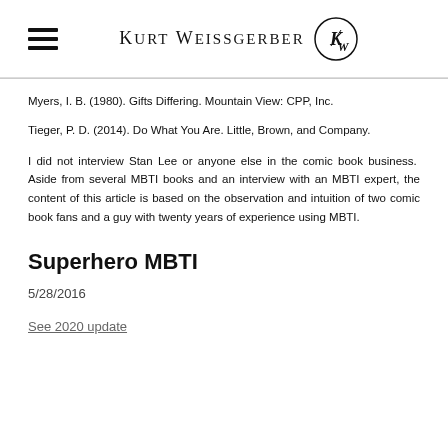Kurt Weissgerber
Myers, I. B. (1980). Gifts Differing. Mountain View: CPP, Inc.
Tieger, P. D. (2014). Do What You Are. Little, Brown, and Company.
I did not interview Stan Lee or anyone else in the comic book business. Aside from several MBTI books and an interview with an MBTI expert, the content of this article is based on the observation and intuition of two comic book fans and a guy with twenty years of experience using MBTI.
Superhero MBTI
5/28/2016
See 2020 update